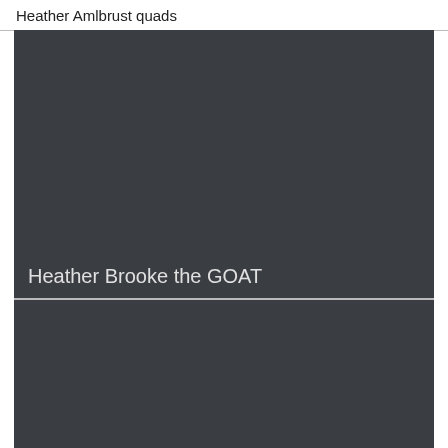Heather Amlbrust quads
[Figure (photo): Dark grey/charcoal colored image card with label 'Heather Brooke the GOAT' at the bottom left]
[Figure (photo): Dark grey/charcoal colored image card, no visible label]